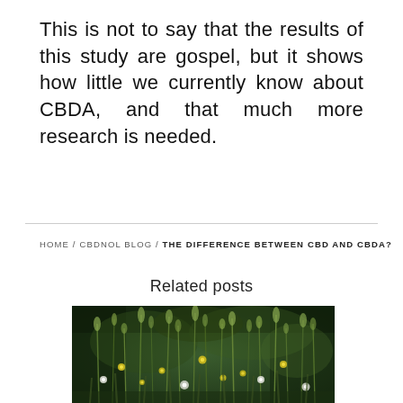This is not to say that the results of this study are gospel, but it shows how little we currently know about CBDA, and that much more research is needed.
HOME / CBDNOL BLOG / THE DIFFERENCE BETWEEN CBD AND CBDA?
Related posts
[Figure (photo): Outdoor nature photo showing wild grasses and small yellow and white wildflowers against a dark blurred background]